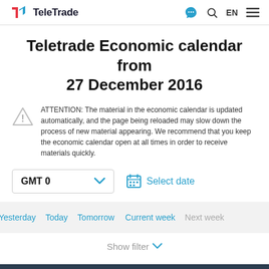TeleTrade
Teletrade Economic calendar from 27 December 2016
ATTENTION: The material in the economic calendar is updated automatically, and the page being reloaded may slow down the process of new material appearing. We recommend that you keep the economic calendar open at all times in order to receive materials quickly.
GMT 0
Select date
Yesterday
Today
Tomorrow
Current week
Next week
Show filter